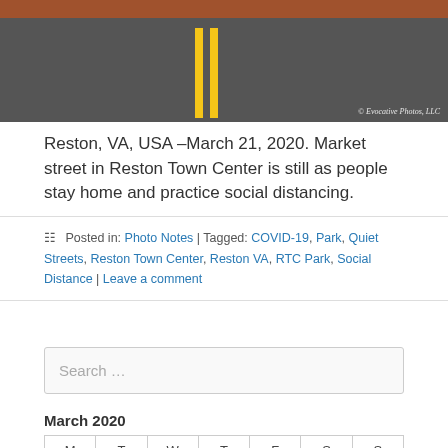[Figure (photo): Aerial/street view of an empty Market Street in Reston Town Center with red brick crosswalk and yellow road markings. Watermark reads: © Evocative Photos, LLC]
Reston, VA, USA –March 21, 2020. Market street in Reston Town Center is still as people stay home and practice social distancing.
Posted in: Photo Notes | Tagged: COVID-19, Park, Quiet Streets, Reston Town Center, Reston VA, RTC Park, Social Distance | Leave a comment
Search ...
March 2020
| M | T | W | T | F | S | S |
| --- | --- | --- | --- | --- | --- | --- |
|  |  |  |  |  |  | 1 |